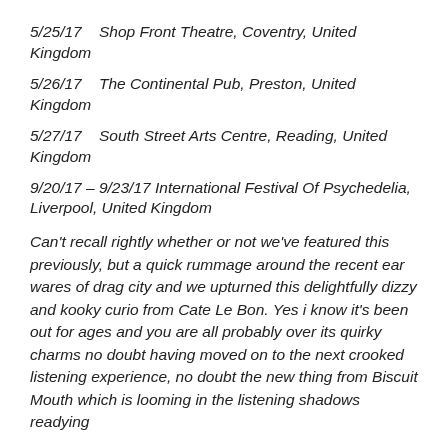5/25/17    Shop Front Theatre, Coventry, United Kingdom
5/26/17    The Continental Pub, Preston, United Kingdom
5/27/17    South Street Arts Centre, Reading, United Kingdom
9/20/17 – 9/23/17 International Festival Of Psychedelia, Liverpool, United Kingdom
Can't recall rightly whether or not we've featured this previously, but a quick rummage around the recent ear wares of drag city and we upturned this delightfully dizzy and kooky curio from Cate Le Bon. Yes i know it's been out for ages and you are all probably over its quirky charms no doubt having moved on to the next crooked listening experience, no doubt the new thing from Biscuit Mouth which is looming in the listening shadows readying